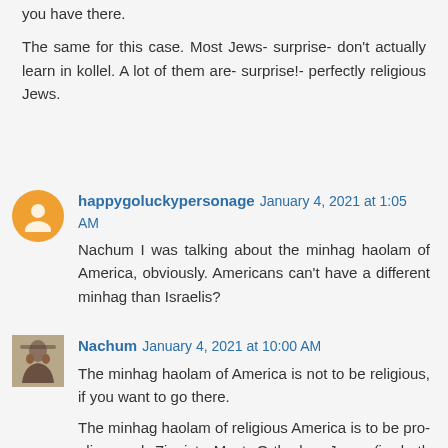you have there.
The same for this case. Most Jews- surprise- don't actually learn in kollel. A lot of them are- surprise!- perfectly religious Jews.
happygoluckypersonage January 4, 2021 at 1:05 AM
Nachum I was talking about the minhag haolam of America, obviously. Americans can't have a different minhag than Israelis?
Nachum January 4, 2021 at 10:00 AM
The minhag haolam of America is not to be religious, if you want to go there.
The minhag haolam of religious America is to be pro-aliya and Zionist. Most Orthodox Jews (in both America and Israel) are not charedim.